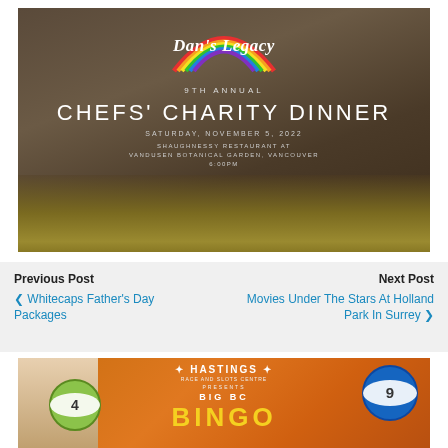[Figure (photo): Dan's Legacy 9th Annual Chefs' Charity Dinner promotional image. A person in a white chef's outfit and dark apron holds a wooden board with a colorful salad dish. The apron displays the Dan's Legacy logo with a rainbow arc and event details: Saturday, November 5, 2022, Shaughnessy Restaurant at VanDusen Botanical Garden, Vancouver, 6:00PM.]
Previous Post
< Whitecaps Father's Day Packages
Next Post
Movies Under The Stars At Holland Park In Surrey >
[Figure (photo): Hastings presents Big BC Bingo promotional image with bingo balls, a blonde woman, and large golden BINGO text on an orange background.]